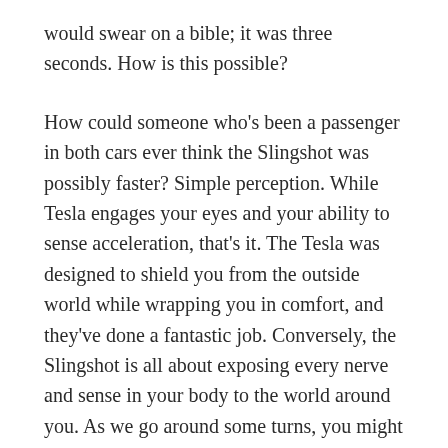would swear on a bible; it was three seconds. How is this possible?
How could someone who's been a passenger in both cars ever think the Slingshot was possibly faster? Simple perception. While Tesla engages your eyes and your ability to sense acceleration, that's it. The Tesla was designed to shield you from the outside world while wrapping you in comfort, and they've done a fantastic job. Conversely, the Slingshot is all about exposing every nerve and sense in your body to the world around you. As we go around some turns, you might feel the slightest amount of drift as the lone rear tire gently swings around to the outside of the turn.